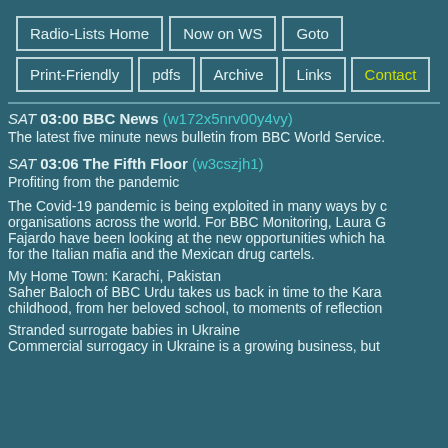Radio-Lists Home | Now on WS | Goto | Print-Friendly | pdfs | Archive | Links | Contact
SAT 03:00 BBC News (w172x5nrv00y4vy)
The latest five minute news bulletin from BBC World Service.
SAT 03:06 The Fifth Floor (w3cszjh1)
Profiting from the pandemic

The Covid-19 pandemic is being exploited in many ways by organisations across the world. For BBC Monitoring, Laura G Fajardo have been looking at the new opportunities which ha for the Italian mafia and the Mexican drug cartels.

My Home Town: Karachi, Pakistan
Saher Baloch of BBC Urdu takes us back in time to the Kara childhood, from her beloved school, to moments of reflection

Stranded surrogate babies in Ukraine
Commercial surrogacy in Ukraine is a growing business, but